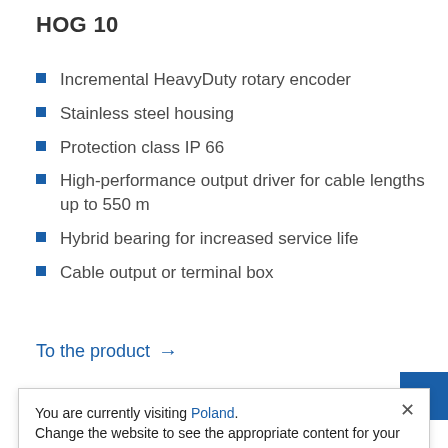HOG 10
Incremental HeavyDuty rotary encoder
Stainless steel housing
Protection class IP 66
High-performance output driver for cable lengths up to 550 m
Hybrid bearing for increased service life
Cable output or terminal box
To the product →
You are currently visiting Poland. Change the website to see the appropriate content for your location.
Visit Website USA →